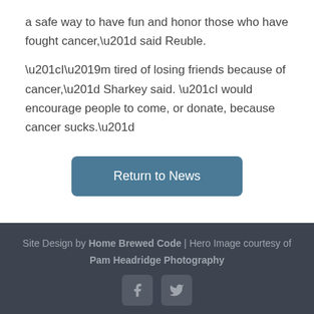a safe way to have fun and honor those who have fought cancer,” said Reuble.
“I’m tired of losing friends because of cancer,” Sharkey said. “I would encourage people to come, or donate, because cancer sucks.”
Return to News
Site Design by Home Brewed Code | Hero Image courtesy of Pam Headridge Photography